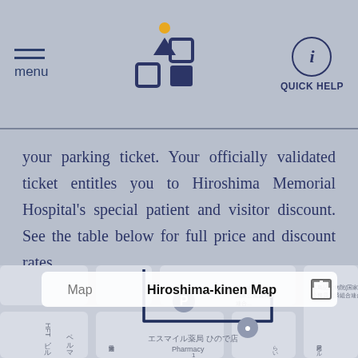menu | [logo] | QUICK HELP
your parking ticket. Your officially validated ticket entitles you to Hiroshima Memorial Hospital's special patient and visitor discount. See the table below for full price and discount rates.
[Figure (map): Hiroshima-kinen Map showing street map with tab bar containing 'Map' and 'Hiroshima-kinen Map' tabs, showing local streets with Japanese labels, a pharmacy (エスマイル薬局 ひので店), parking icon (P), and a highlighted route/area outlined in dark blue.]